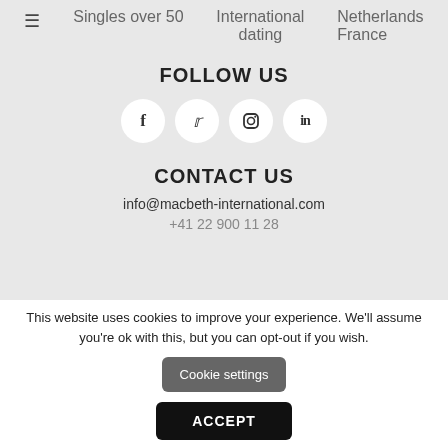Singles over 50
International dating
Netherlands
France
FOLLOW US
[Figure (other): Social media icons: Facebook, Twitter, Instagram, LinkedIn in white circles]
CONTACT US
info@macbeth-international.com
+41 22 900 11 28
This website uses cookies to improve your experience. We'll assume you're ok with this, but you can opt-out if you wish.
Cookie settings
ACCEPT